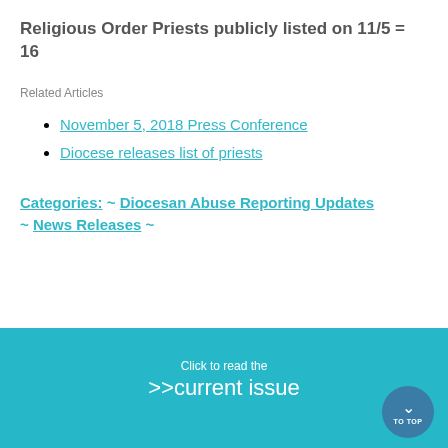Religious Order Priests publicly listed on 11/5 = 16
Related Articles
November 5, 2018 Press Conference
Diocese releases list of priests
Categories: ~ Diocesan Abuse Reporting Updates ~ News Releases ~
[Figure (other): Teal banner with text 'Click to read the >>current issue online' and a circular 'TO TOP' navigation button]